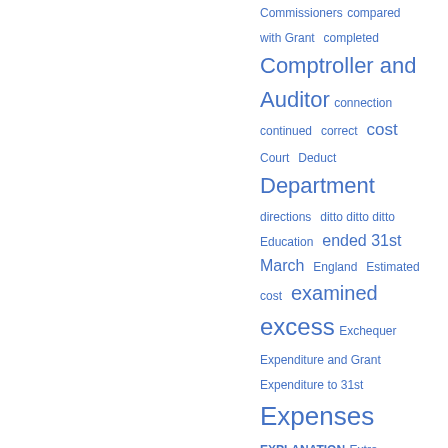[Figure (other): Word cloud / index list with terms in varying sizes in blue: Commissioners, compared with Grant, completed, Comptroller and Auditor, connection, continued, correct, cost, Court, Deduct, Department, directions, ditto ditto ditto, Education, ended 31st March, England, Estimated cost, examined, excess, Exchequer, Expenditure and Grant, Expenditure to 31st, Expenses, EXPLANATION, Extra Receipts, Fees, Fund, Government, Grant in Aid, Gross, Head, House]